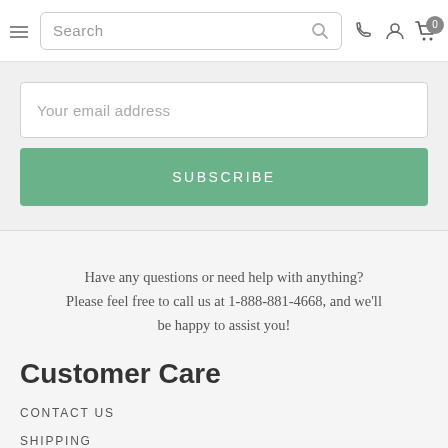Search | phone | user | cart 0
Your email address
SUBSCRIBE
Have any questions or need help with anything? Please feel free to call us at 1-888-881-4668, and we'll be happy to assist you!
Customer Care
CONTACT US
SHIPPING